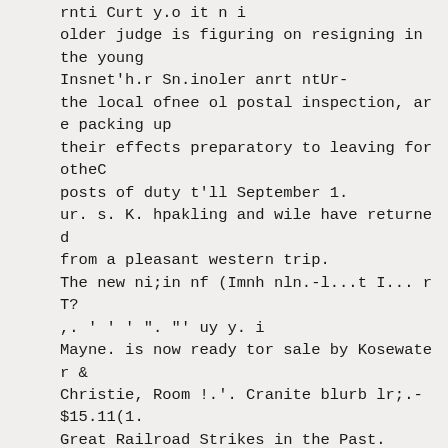rnti Curt y.o it n i
older judge is figuring on resigning in the young
Insnet'h.r Sn.inoler anrt ntUr-
the local ofnee ol postal inspection, are packing up
their effects preparatory to leaving for otheC
posts of duty t'll September 1.
ur. s. K. hpakling and wile have returned
from a pleasant western trip.
The new ni;in nf (Imnh nln.-l...t I... r T?
,. ' ' ' ". "' uy y. i
Mayne. is now ready tor sale by Kosewater &
Christie, Room !.'. Granite blurb lr;.-$15.11(1.
Great Railroad Strikes in the Past.